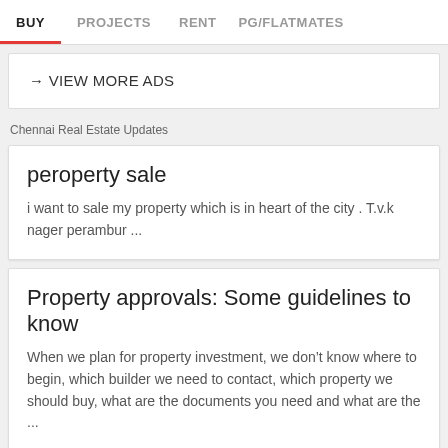BUY   PROJECTS   RENT   PG/FLATMATES
→ VIEW MORE ADS
Chennai Real Estate Updates
peroperty sale
i want to sale my property which is in heart of the city . T.v.k nager perambur ...
Property approvals: Some guidelines to know
When we plan for property investment, we don&rsquo;t know where to begin, which builder we need to contact, which property we should buy, what are the documents you need and what are the ...